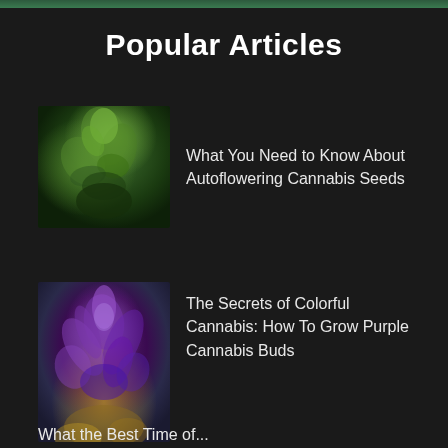Popular Articles
[Figure (photo): Close-up photograph of a green cannabis plant with dense buds and leaves]
What You Need to Know About Autoflowering Cannabis Seeds
[Figure (photo): Close-up photograph of a purple cannabis plant with vibrant purple and blue leaves and buds]
The Secrets of Colorful Cannabis: How To Grow Purple Cannabis Buds
What the Best Time of...